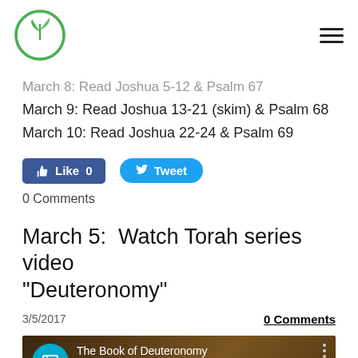[Logo] [Hamburger menu]
March 8: Read Joshua 5-12 & Psalm 67
March 9: Read Joshua 13-21 (skim) & Psalm 68
March 10: Read Joshua 22-24 & Psalm 69
[Figure (screenshot): Facebook Like button showing 0 likes and a Twitter Tweet button]
0 Comments
March 5:  Watch Torah series video "Deuteronomy"
3/5/2017
0 Comments
[Figure (screenshot): YouTube video thumbnail for The Book of Deuteronomy - Torah Series, showing the word Deuteronomy in large white text on a brown background with a teal channel icon]